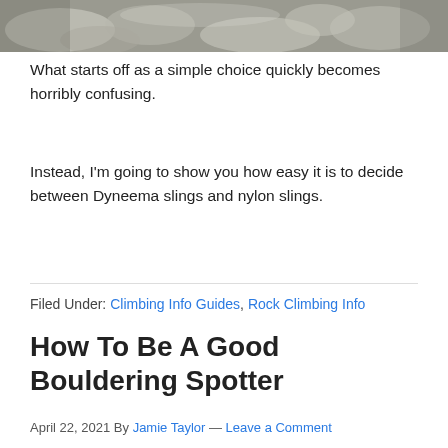[Figure (photo): Rocky landscape/bouldering terrain photo strip at the top of the page]
What starts off as a simple choice quickly becomes horribly confusing.
Instead, I'm going to show you how easy it is to decide between Dyneema slings and nylon slings.
Filed Under: Climbing Info Guides, Rock Climbing Info
How To Be A Good Bouldering Spotter
April 22, 2021 By Jamie Taylor — Leave a Comment